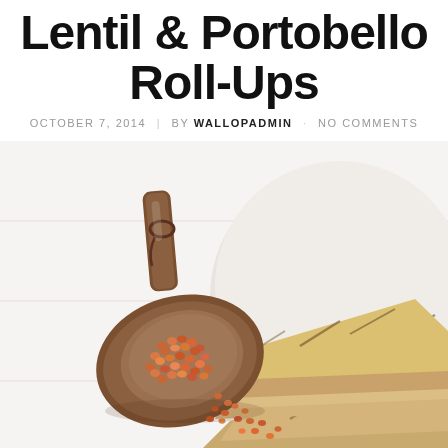Lentil & Portobello Roll-Ups
OCTOBER 7, 2014 | BY WALLOPADMIN · NO COMMENTS
[Figure (photo): Overhead photo of red lentils in a wooden scoop spilling onto a white surface, alongside grilled flatbread/tortillas on a white plate]